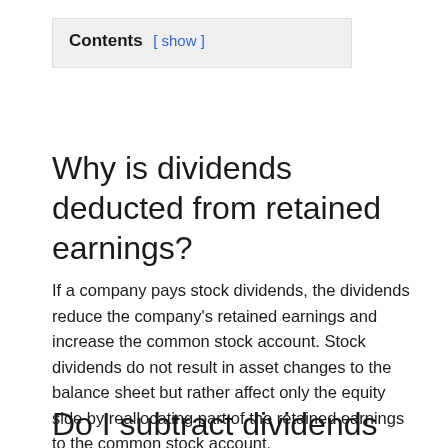Contents [ show ]
Why is dividends deducted from retained earnings?
If a company pays stock dividends, the dividends reduce the company’s retained earnings and increase the common stock account. Stock dividends do not result in asset changes to the balance sheet but rather affect only the equity side by reallocating part of the retained earnings to the common stock account.
Do I subtract dividends from